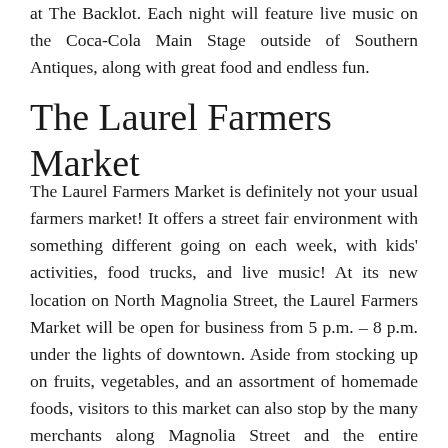at The Backlot. Each night will feature live music on the Coca-Cola Main Stage outside of Southern Antiques, along with great food and endless fun.
The Laurel Farmers Market
The Laurel Farmers Market is definitely not your usual farmers market! It offers a street fair environment with something different going on each week, with kids' activities, food trucks, and live music! At its new location on North Magnolia Street, the Laurel Farmers Market will be open for business from 5 p.m. – 8 p.m. under the lights of downtown. Aside from stocking up on fruits, vegetables, and an assortment of homemade foods, visitors to this market can also stop by the many merchants along Magnolia Street and the entire downtown. This seasonal market attracts local farmers, gardeners, artisans, and craftsmen, resulting in an